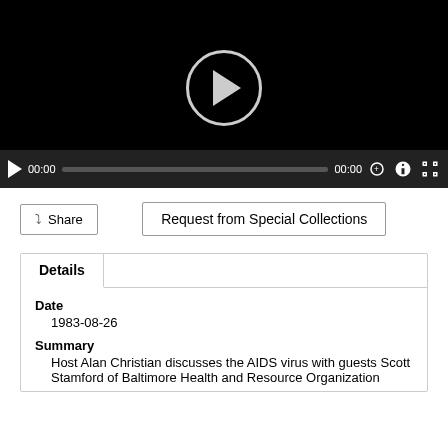[Figure (screenshot): Video player with black background showing a play button circle in the center and a controls bar at the bottom with play icon, 00:00 timestamps, a progress bar, and icons for zoom, settings, and fullscreen.]
Share
Request from Special Collections
Details
Date
1983-08-26
Summary
Host Alan Christian discusses the AIDS virus with guests Scott Stamford of Baltimore Health and Resource Organization